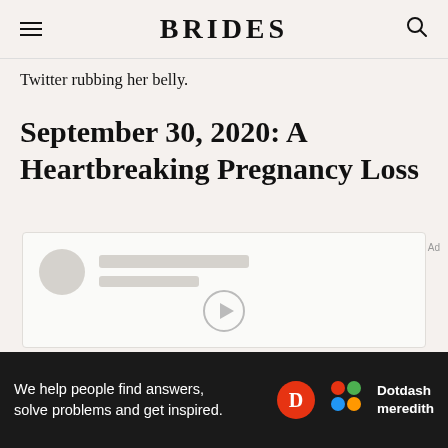BRIDES
Twitter rubbing her belly.
September 30, 2020: A Heartbreaking Pregnancy Loss
[Figure (screenshot): Embedded social media card placeholder with avatar circle and grey skeleton lines]
We help people find answers, solve problems and get inspired. Dotdash meredith